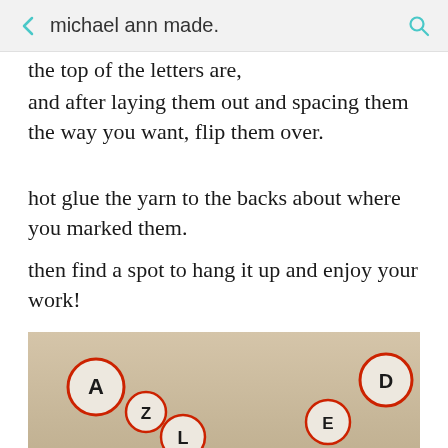michael ann made.
the top of the letters are,
and after laying them out and spacing them the way you want, flip them over.
hot glue the yarn to the backs about where you marked them.
then find a spot to hang it up and enjoy your work!
[Figure (photo): Photo of letter ornaments hanging on a wall, showing decorative circular letters spelling something, with red circle borders on a beige/cream wall background.]